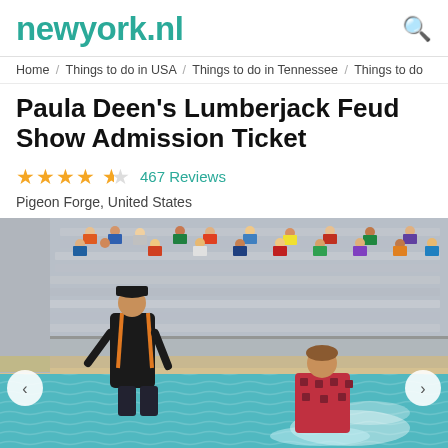newyork.nl
Home / Things to do in USA / Things to do in Tennessee / Things to do
Paula Deen's Lumberjack Feud Show Admission Ticket
★★★★½  467 Reviews
Pigeon Forge, United States
[Figure (photo): Two performers at Paula Deen's Lumberjack Feud Show — one standing in black outfit with orange suspenders leaning toward another performer partly submerged in a pool, with a crowd in bleachers visible in the background]